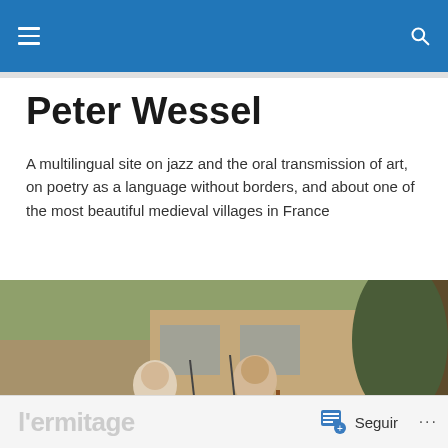Peter Wessel — navigation bar with hamburger menu and search icon
Peter Wessel
A multilingual site on jazz and the oral transmission of art, on poetry as a language without borders, and about one of the most beautiful medieval villages in France
[Figure (photo): Outdoor jazz performance in a medieval village in France. Three musicians playing instruments near stone buildings and a large tree.]
TAGGED WITH QUEST
l'ermitage
Seguir